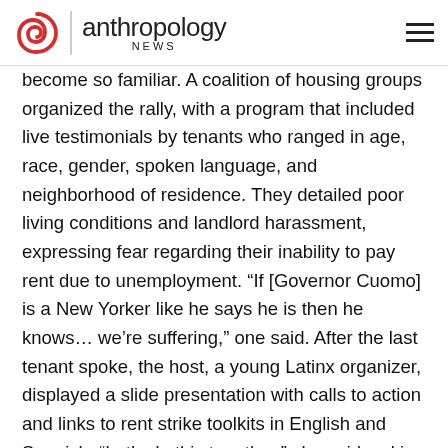anthropology NEWS
become so familiar. A coalition of housing groups organized the rally, with a program that included live testimonials by tenants who ranged in age, race, gender, spoken language, and neighborhood of residence. They detailed poor living conditions and landlord harassment, expressing fear regarding their inability to pay rent due to unemployment. “If [Governor Cuomo] is a New Yorker like he says he is then he knows… we’re suffering,” one said. After the last tenant spoke, the host, a young Latinx organizer, displayed a slide presentation with calls to action and links to rent strike toolkits in English and Spanish. “Let’s do this together,” she said, asking everyone to join in a cacerolazo. Bangs and clacks of pots and